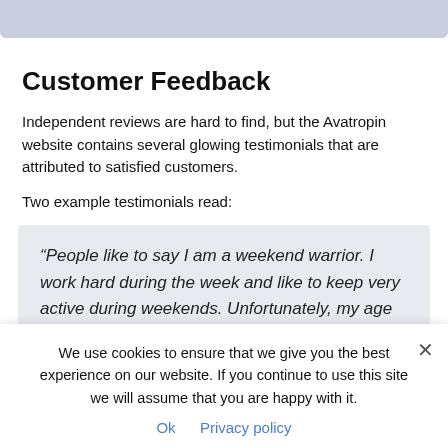Customer Feedback
Independent reviews are hard to find, but the Avatropin website contains several glowing testimonials that are attributed to satisfied customers.
Two example testimonials read:
“People like to say I am a weekend warrior. I work hard during the week and like to keep very active during weekends. Unfortunately, my age has caught up to be a bit and I needed something to get me going again. I came across Avatropin through a friend
We use cookies to ensure that we give you the best experience on our website. If you continue to use this site we will assume that you are happy with it.
Ok   Privacy policy